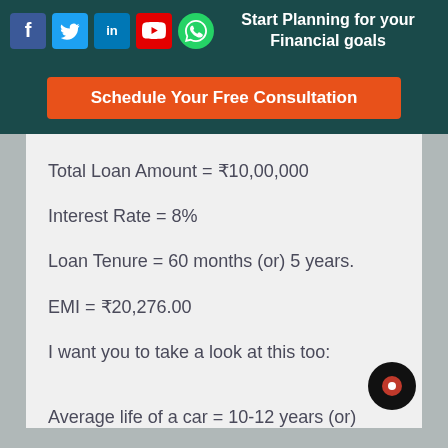Start Planning for your Financial goals
Schedule Your Free Consultation
Total Loan Amount = ₹10,00,000
Interest Rate = 8%
Loan Tenure = 60 months (or) 5 years.
EMI = ₹20,276.00
I want you to take a look at this too:
Average life of a car = 10-12 years (or)